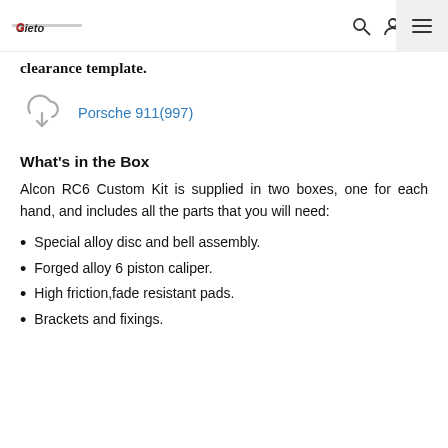Giato logo / search / account / cart / menu
clearance template.
[Figure (illustration): Cloud with downward arrow download icon]
Porsche 911(997)
What's in the Box
Alcon RC6 Custom Kit is supplied in two boxes, one for each hand, and includes all the parts that you will need:
Special alloy disc and bell assembly.
Forged alloy 6 piston caliper.
High friction,fade resistant pads.
Brackets and fixings.